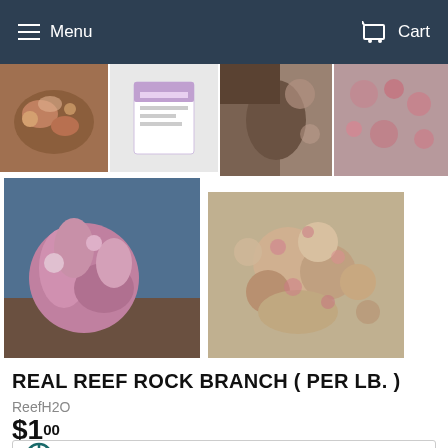Menu  Cart
[Figure (photo): Thumbnail image of real reef rock branch, brownish-pink coral rock]
[Figure (photo): Thumbnail image of purple/white product box packaging]
[Figure (photo): Thumbnail image of close-up reef rock surface]
[Figure (photo): Thumbnail image of pink and white spotted reef rock]
[Figure (photo): Large image of pink/purple branching real reef rock on blue-grey surface]
[Figure (photo): Medium image of pink and white clustered reef rock]
REAL REEF ROCK BRANCH ( PER LB. )
ReefH2O
$1.00
[Figure (logo): Hot air balloon icon in teal/dark teal color]
Quantity